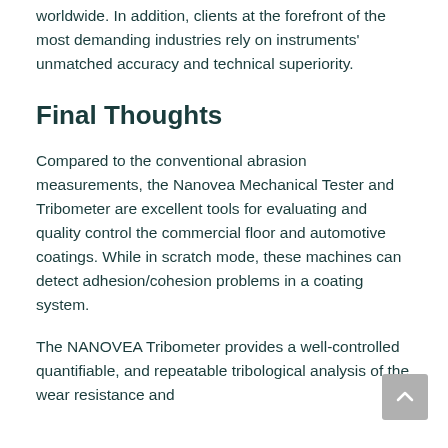worldwide. In addition, clients at the forefront of the most demanding industries rely on instruments' unmatched accuracy and technical superiority.
Final Thoughts
Compared to the conventional abrasion measurements, the Nanovea Mechanical Tester and Tribometer are excellent tools for evaluating and quality control the commercial floor and automotive coatings. While in scratch mode, these machines can detect adhesion/cohesion problems in a coating system.
The NANOVEA Tribometer provides a well-controlled quantifiable, and repeatable tribological analysis of the wear resistance and